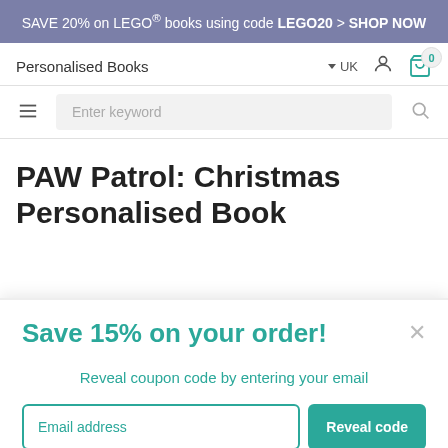SAVE 20% on LEGO® books using code LEGO20 > SHOP NOW
Personalised Books
UK
Enter keyword
PAW Patrol: Christmas Personalised Book
Save 15% on your order!
Reveal coupon code by entering your email
Email address
Reveal code